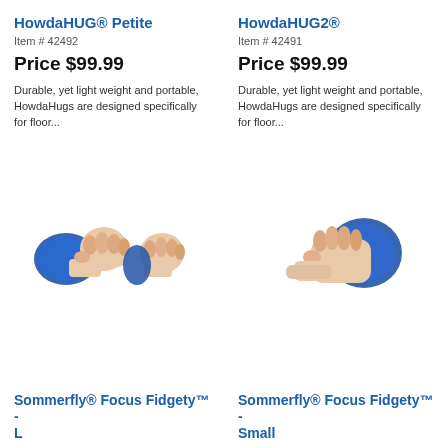HowdaHUG® Petite
Item # 42492
Price $99.99
Durable, yet light weight and portable, HowdaHugs are designed specifically for floor...
[Figure (photo): Hand wearing a blue wrist weight wrap, showing two fists]
Sommerfly® Focus Fidgety™ - L
HowdaHUG2®
Item # 42491
Price $99.99
Durable, yet light weight and portable, HowdaHugs are designed specifically for floor...
[Figure (photo): Hand holding a blue squeeze ball]
Sommerfly® Focus Fidgety™ - Small